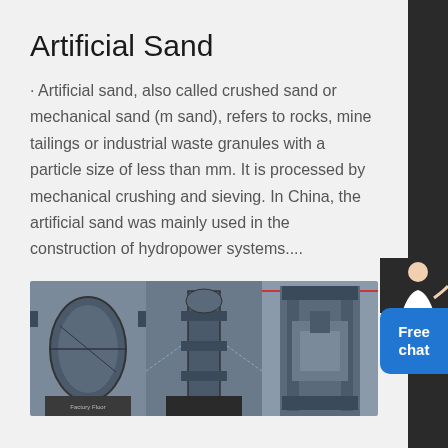Artificial Sand
· Artificial sand, also called crushed sand or mechanical sand (m sand), refers to rocks, mine tailings or industrial waste granules with a particle size of less than mm. It is processed by mechanical crushing and sieving. In China, the artificial sand was mainly used in the construction of hydropower systems....
[Figure (photo): Three industrial machinery photos side by side: a large cylindrical drum/ball mill in a factory, industrial equipment with a vertical structure, and a large hydraulic press machine in a workshop]
Plastic Crusher Machine, Plastic Granulator, Plastic ...
Ningbo Beilun Rhong Machinery Manufacturing Co., Ltd. is a professional leader China Plastic Crusher Machine, Plastic Granulator, Plastic Grinder Machine manufacturer with high quality and reasonable price.